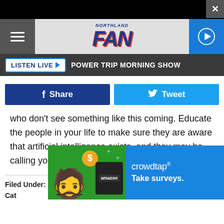[Figure (screenshot): Northland FAN radio station website header with hamburger menu, logo, and play button]
LISTEN LIVE ▶  POWER TRIP MORNING SHOW
[Figure (infographic): Facebook Share button (dark blue) and Twitter Tweet button (light blue)]
who don't see something like this coming. Educate the people in your life to make sure they are aware that artificial intelligence exists, and they may be calling you.
Filed Under: phone, Scam
Cat
[Figure (infographic): Crowdtap advertisement banner: Take surveys. Features a bearded man, Amazon card, dollar coin, and crowdtap logo on blue background.]